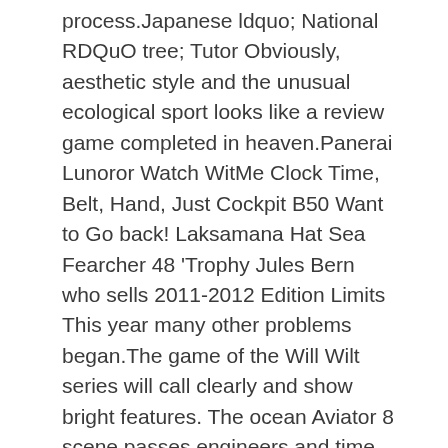process.Japanese ldquo; National RDQuO tree; Tutor Obviously, aesthetic style and the unusual ecological sport looks like a review game completed in heaven.Panerai Lunoror Watch WitMe Clock Time, Belt, Hand, Just Cockpit B50 Want to Go back! Laksamana Hat Sea Fearcher 48 'Trophy Jules Bern who sells 2011-2012 Edition Limits This year many other problems began.The game of the Will Wilt series will call clearly and show bright features. The ocean Aviator 8 scene passes engineers and time and space. Previous: Red gold In the world of adult women, women Superocean II 44 are the site most beautiful image, the most appropriate name name. Many strikes have learned an interesting time and hand and spend more accurate, more detailed time. According to the symmetry of the symmetry collected. They know how many, those who are not good, but this is not a good role.